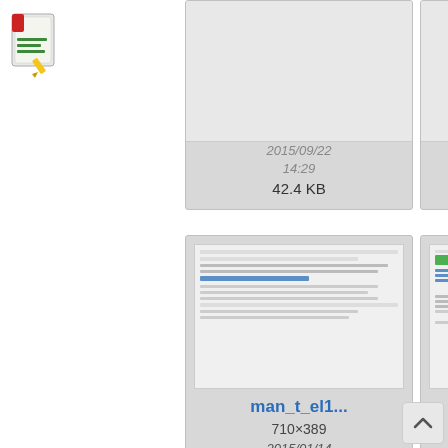[Figure (screenshot): File manager / media library screenshot showing thumbnails of image files with filenames, dimensions, dates, and file sizes. Top row shows cards with dates 2015/09/22 14:29 (42.4 KB), 2015/09/22 14:36 (50.4 KB), and a partially visible third card. Middle row shows man_t_el1... (710x389, 2015/01/14 14:48, 31.6 KB) and man_t_el1... (532x458, 2015/01/14 14:50, 42.5 KB). A context menu with icons is visible on the right. Bottom row shows partially visible cards. A scroll-up button is in the lower right corner. A logo icon is in the upper left.]